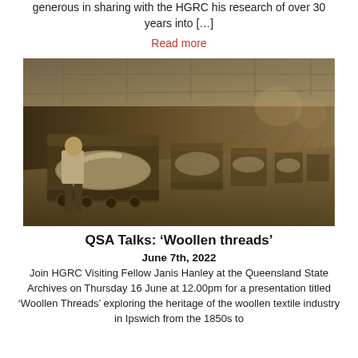generous in sharing with the HGRC his research of over 30 years into […]
Read more
[Figure (photo): Black and white historical photograph of a textile factory interior, showing a worker operating large industrial weaving/loom machines in a long row extending into the background of the factory floor.]
QSA Talks: 'Woollen threads'
June 7th, 2022
Join HGRC Visiting Fellow Janis Hanley at the Queensland State Archives on Thursday 16 June at 12.00pm for a presentation titled 'Woollen Threads' exploring the heritage of the woollen textile industry in Ipswich from the 1850s to